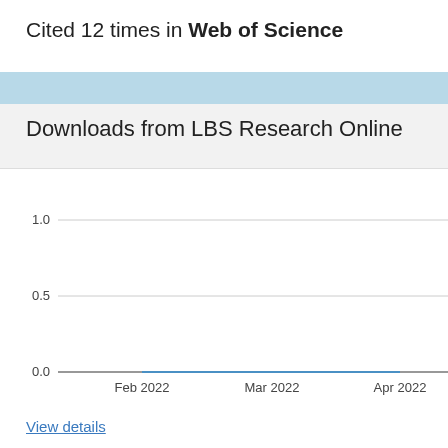Cited 12 times in Web of Science
Downloads from LBS Research Online
[Figure (line-chart): Downloads from LBS Research Online]
View details